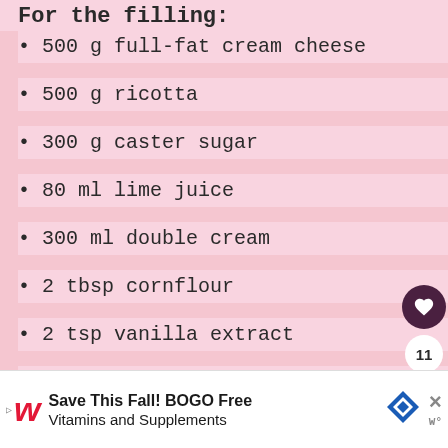For the filling:
500 g full-fat cream cheese
500 g ricotta
300 g caster sugar
80 ml lime juice
300 ml double cream
2 tbsp cornflour
2 tsp vanilla extract
4 green cardamom pods seeds removed and crushed
150 g fresh coconut to decorate
WHAT'S NEXT → Eggless Coconut...